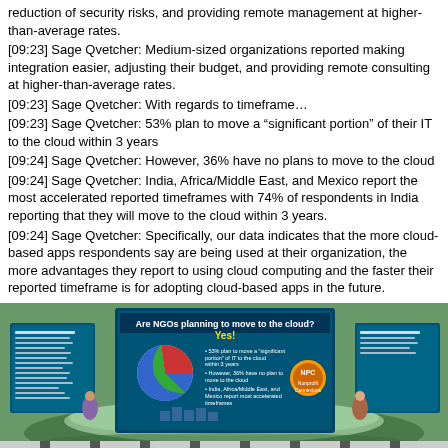[09:23] Sage Qvetcher: Medium-sized organizations reported making integration easier, adjusting their budget, and providing remote consulting at higher-than-average rates.
[09:23] Sage Qvetcher: With regards to timeframe…
[09:23] Sage Qvetcher: 53% plan to move a “significant portion” of their IT to the cloud within 3 years
[09:24] Sage Qvetcher: However, 36% have no plans to move to the cloud
[09:24] Sage Qvetcher: India, Africa/Middle East, and Mexico report the most accelerated reported timeframes with 74% of respondents in India reporting that they will move to the cloud within 3 years.
[09:24] Sage Qvetcher: Specifically, our data indicates that the more cloud-based apps respondents say are being used at their organization, the more advantages they report to using cloud computing and the faster their reported timeframe is for adopting cloud-based apps in the future.
[09:25] Sage Qvetcher: Medium-sized organizations reported the most aggressive timeframe for moving IT to the cloud, with 22% reporting they plan to move a significant portion of their IT to the cloud within one year. Medium-sized organizations were defined as organizations with 10 to 44 full-time staff and volunteers.
[09:25] Orange Planer: I’m sure those virtual people will be of great help.
[Figure (photo): Screenshot of a virtual world (Second Life-style) showing a circular amphitheater or stage area with presentation boards/screens displaying cloud computing statistics and a pie chart about NGOs planning to move to the cloud. Signs visible include 'Are NGOs planning to move to the cloud? Yes!' with bullet points about statistics.]